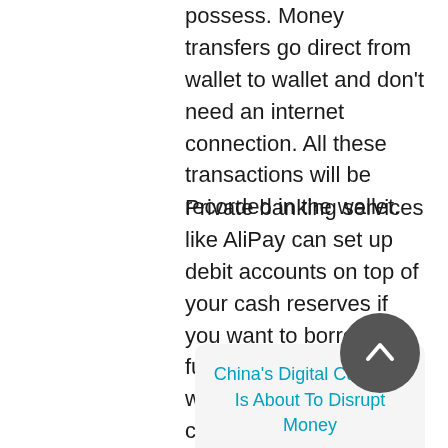possess. Money transfers go direct from wallet to wallet and don't need an internet connection. All these transactions will be recorded in the wallet.
Private banking services like AliPay can set up debit accounts on top of your cash reserves if you want to borrow funds but that function will require an internet connection unless you are preapproved.
China's Digital Currency Is About To Disrupt Money